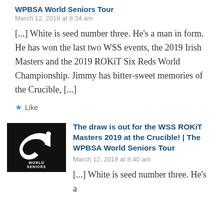WPBSA World Seniors Tour
March 12, 2019 at 8:34 am
[...] White is seed number three. He's a man in form. He has won the last two WSS events, the 2019 Irish Masters and the 2019 ROKiT Six Reds World Championship. Jimmy has bitter-sweet memories of the Crucible, [...]
Like
The draw is out for the WSS ROKiT Masters 2019 at the Crucible! | The WPBSA World Seniors Tour
March 12, 2019 at 8:40 am
[...] White is seed number three. He's a